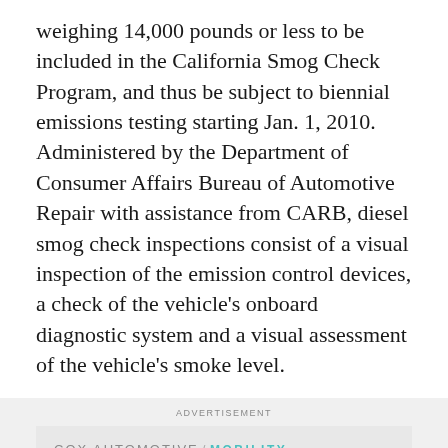weighing 14,000 pounds or less to be included in the California Smog Check Program, and thus be subject to biennial emissions testing starting Jan. 1, 2010. Administered by the Department of Consumer Affairs Bureau of Automotive Repair with assistance from CARB, diesel smog check inspections consist of a visual inspection of the emission control devices, a check of the vehicle's onboard diagnostic system and a visual assessment of the vehicle's smoke level.
[Figure (other): Advertisement for Cox Automotive / Mobility. Headline: 'The hands-on total fleet solution for maintenance from every angle.' Logo shows Cox Automotive / Mobility branding with a teal decorative circle in the bottom right.]